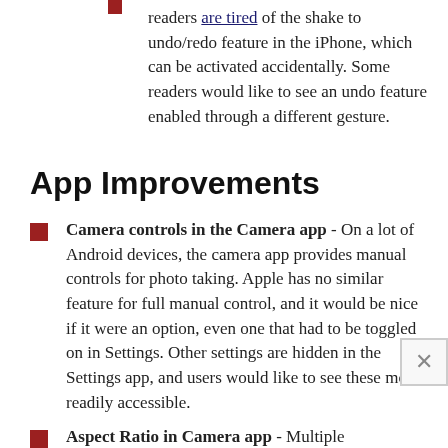readers are tired of the shake to undo/redo feature in the iPhone, which can be activated accidentally. Some readers would like to see an undo feature enabled through a different gesture.
App Improvements
Camera controls in the Camera app - On a lot of Android devices, the camera app provides manual controls for photo taking. Apple has no similar feature for full manual control, and it would be nice if it were an option, even one that had to be toggled on in Settings. Other settings are hidden in the Settings app, and users would like to see these more readily accessible.
Aspect Ratio in Camera app - Multiple MacRumors readers would like to see an option to set a default aspect ratio for photos.
FaceTime - Several MacRumors readers are hoping for group FaceTime. Rumors suggest Apple's working